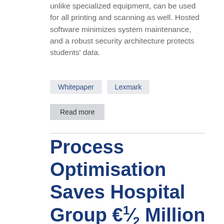unlike specialized equipment, can be used for all printing and scanning as well. Hosted software minimizes system maintenance, and a robust security architecture protects students' data.
Whitepaper   Lexmark
Read more
Process Optimisation Saves Hospital Group €½ Million